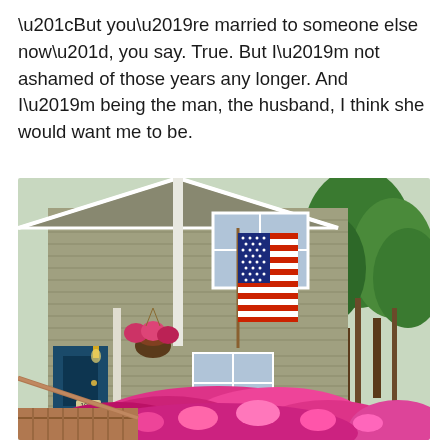“But you’re married to someone else now”, you say. True. But I’m not ashamed of those years any longer. And I’m being the man, the husband, I think she would want me to be.
[Figure (photo): Exterior of a two-story gray/beige clapboard house with white trim. An American flag is mounted on a pole near the front porch. The house number 1928 is visible. Pink flowering azalea bushes are in the foreground. Hanging flower baskets flank the porch entrance. Green trees are visible on the right side.]